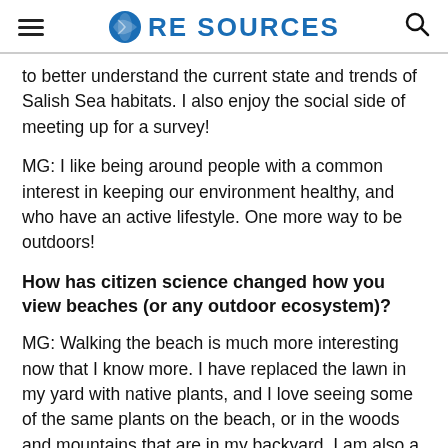RE SOURCES
to better understand the current state and trends of Salish Sea habitats. I also enjoy the social side of meeting up for a survey!
MG: I like being around people with a common interest in keeping our environment healthy, and who have an active lifestyle. One more way to be outdoors!
How has citizen science changed how you view beaches (or any outdoor ecosystem)?
MG: Walking the beach is much more interesting now that I know more. I have replaced the lawn in my yard with native plants, and I love seeing some of the same plants on the beach, or in the woods and mountains that are in my backyard. I am also a land steward for